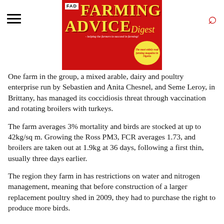FAD FARMING ADVICE Digest - helping the farmers to succeed in farming! The most widely read farming magazine in Nigeria
One farm in the group, a mixed arable, dairy and poultry enterprise run by Sebastien and Anita Chesnel, and Seme Leroy, in Brittany, has managed its coccidiosis threat through vaccination and rotating broilers with turkeys.
The farm averages 3% mortality and birds are stocked at up to 42kg/sq m. Growing the Ross PM3, FCR averages 1.73, and broilers are taken out at 1.9kg at 36 days, following a first thin, usually three days earlier.
The region they farm in has restrictions on water and nitrogen management, meaning that before construction of a larger replacement poultry shed in 2009, they had to purchase the right to produce more birds.